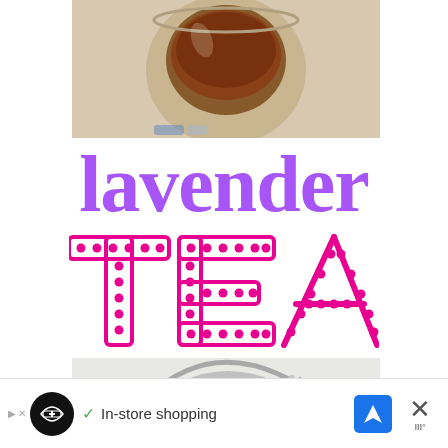[Figure (photo): Close-up photo of a glass jar with dark tea liquid inside, shot from above on a light background]
lavender
TEA
[Figure (photo): Close-up photo of silver spoons and a red tea bag tag resting on/near a glass jar, on a white surface]
In-store shopping